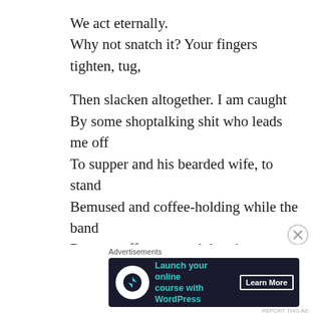We act eternally.
Why not snatch it? Your fingers tighten, tug,

Then slacken altogether. I am caught
By some shoptalking shit who leads me off
To supper and his bearded wife, to stand
Bemused and coffee-holding while the band
Restarts off-stage, and they in tempo scoff
Small things I couldn't look at, rent
By wondering who has got you now, and whether
That serious restlessness was what you meant,
Or was it all those things mixed up together?
(Drink, sex and jazz.) Content
To let it seem I've just been taken short,
[Figure (other): Advertisement banner: 'Launch your online course with WordPress' with Learn More button on dark background. Preceded by 'Advertisements' label.]